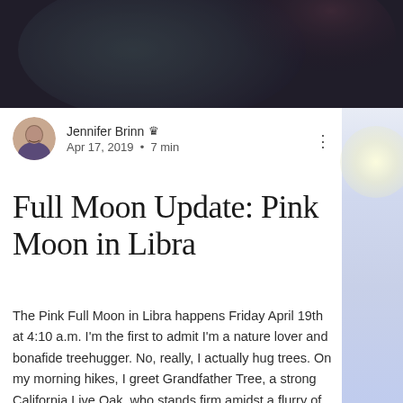[Figure (photo): Dark atmospheric photo banner at top of page with dark teal and purple tones, partially cropped]
Jennifer Brinn 👑 Admin
Apr 17, 2019 · 7 min
Full Moon Update: Pink Moon in Libra
The Pink Full Moon in Libra happens Friday April 19th at 4:10 a.m. I'm the first to admit I'm a nature lover and bonafide treehugger. No, really, I actually hug trees. On my morning hikes, I greet Grandfather Tree, a strong California Live Oak, who stands firm amidst a flurry of poison oak so I simply say a warm hello. I pass through an aisle of towering Eucalyptus and a small stand of three Bay